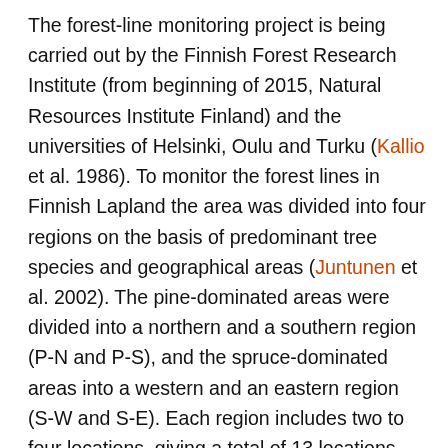The forest-line monitoring project is being carried out by the Finnish Forest Research Institute (from beginning of 2015, Natural Resources Institute Finland) and the universities of Helsinki, Oulu and Turku (Kallio et al. 1986). To monitor the forest lines in Finnish Lapland the area was divided into four regions on the basis of predominant tree species and geographical areas (Juntunen et al. 2002). The pine-dominated areas were divided into a northern and a southern region (P-N and P-S), and the spruce-dominated areas into a western and an eastern region (S-W and S-E). Each region includes two to four locations, giving a total of 13 locations (Scots pine 8 and Norway spruce 5) in northern Finland (Fig. 2). The 13 locations were carefully chosen to cover the whole area of Lapland but at the same time avoiding locations where the topography or soil factors would affect the results. At the same time places where marks of past disturbances were